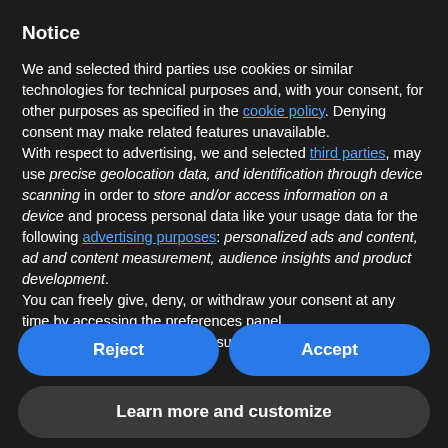Notice
We and selected third parties use cookies or similar technologies for technical purposes and, with your consent, for other purposes as specified in the cookie policy. Denying consent may make related features unavailable.
With respect to advertising, we and selected third parties, may use precise geolocation data, and identification through device scanning in order to store and/or access information on a device and process personal data like your usage data for the following advertising purposes: personalized ads and content, ad and content measurement, audience insights and product development.
You can freely give, deny, or withdraw your consent at any time by accessing the preferences panel.
You can consent to the use of such technologies by using the
Reject
Accept
Learn more and customize